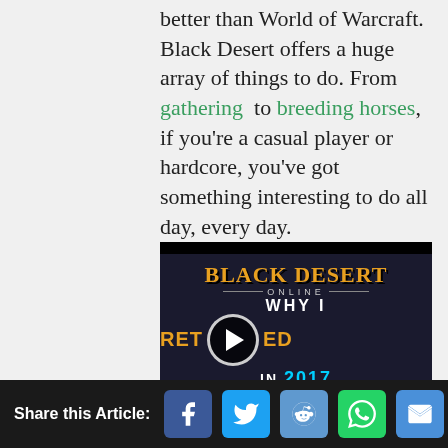better than World of Warcraft. Black Desert offers a huge array of things to do. From gathering to breeding horses, if you're a casual player or hardcore, you've got something interesting to do all day, every day.
[Figure (screenshot): Video thumbnail for Black Desert Online - WHY I RETURNED IN 2017, with a play button overlay. Shows characters from the game with the game title in gold text.]
Share this Article: [Facebook] [Twitter] [Reddit] [WhatsApp] [Email]